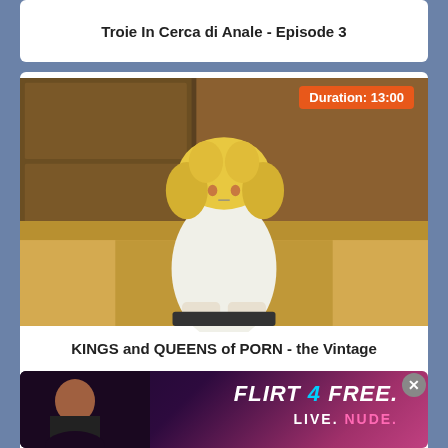Troie In Cerca di Anale - Episode 3
[Figure (photo): Video thumbnail showing a blonde woman sitting on a couch in a living room setting, vintage style. Duration badge showing 13:00 in orange.]
KINGS and QUEENS of PORN - the Vintage
[Figure (photo): Advertisement for Flirt4Free - LIVE. NUDE. featuring a woman, with close button overlay]